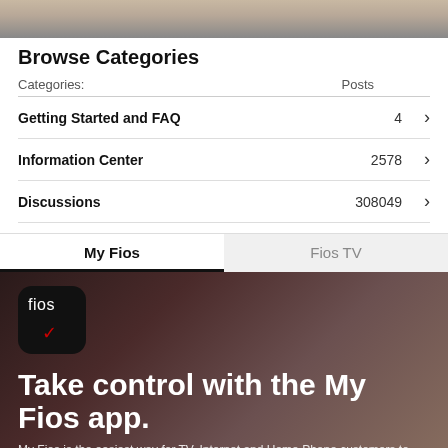[Figure (photo): Top photo banner showing a partial image, appears to be a person or background image cropped at the top]
Browse Categories
| Categories: | Posts |  |
| --- | --- | --- |
| Getting Started and FAQ | 4 | > |
| Information Center | 2578 | > |
| Discussions | 308049 | > |
[Figure (screenshot): Tab bar with My Fios (active) and Fios TV tabs, followed by a dark promotional banner for the My Fios app showing the Fios app icon and headline 'Take control with the My Fios app.' with subtext 'My Fios is the easiest way for TV, Internet and Home Phone customers to access and control their Fios account and services.']